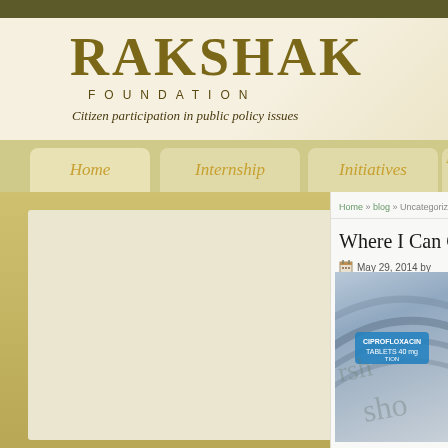[Figure (screenshot): Rakshak Foundation website screenshot showing logo, navigation bar with Home, Internship, Initiatives, and partial fourth item, and a blog post titled 'Where I Can G...' dated May 29, 2014, with a medicine stamp image partially visible]
RAKSHAK FOUNDATION
Citizen participation in public policy issues
Home | Internship | Initiatives | R...
Home » blog » Uncategoriz...
Where I Can G
May 29, 2014 by